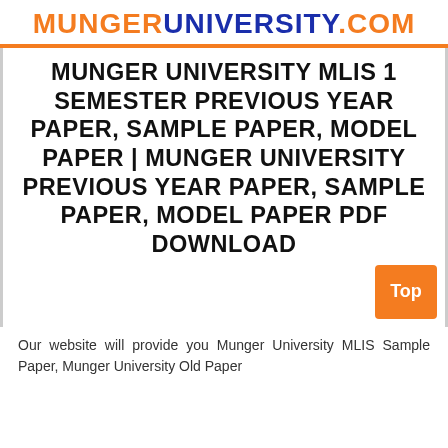MUNGERUNIVERSITY.COM
MUNGER UNIVERSITY MLIS 1 SEMESTER PREVIOUS YEAR PAPER, SAMPLE PAPER, MODEL PAPER | MUNGER UNIVERSITY PREVIOUS YEAR PAPER, SAMPLE PAPER, MODEL PAPER PDF DOWNLOAD
Our website will provide you Munger University MLIS Sample Paper, Munger University Old Paper